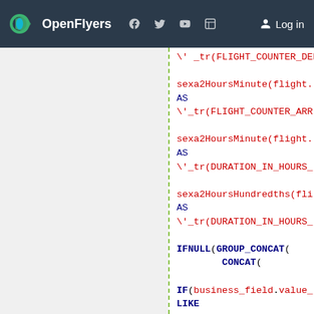OpenFlyers — Log in
SQL code snippet showing sexa2HoursMinute, sexa2HoursHundredths, IFNULL, GROUP_CONCAT, CONCAT, IF, business_field.value_ LIKE ('dbObject::Person%'), SELECT CONCAT (UPPER(tmp_person.last_n \'\', tmp_person.first_name) FROM business_field.content